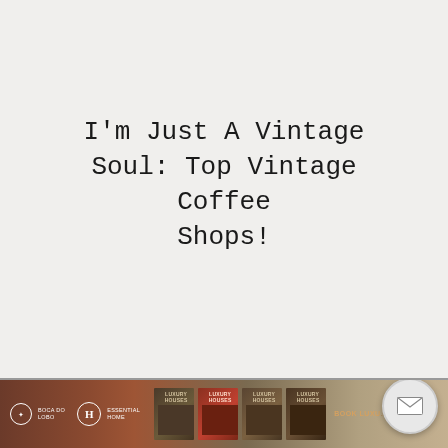I'm Just A Vintage Soul: Top Vintage Coffee Shops!
[Figure (screenshot): Bottom banner showing book covers for 'Luxury Houses' in terracotta/brown tones with logos and 'BOOK LUXU...' text, plus a mail/envelope floating action button]